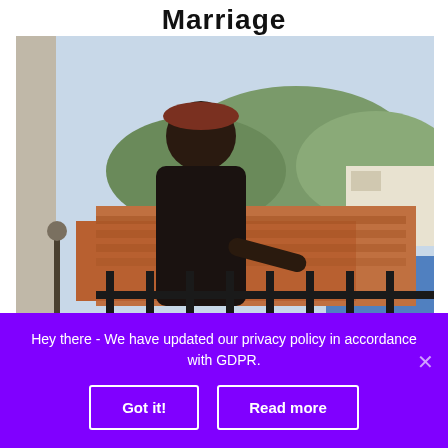Marriage
[Figure (photo): A woman wearing a red baseball cap and black sleeveless top stands on a balcony with ornamental iron railing, overlooking terracotta-roofed buildings with green hills in the background.]
Hey there - We have updated our privacy policy in accordance with GDPR.
Got it!
Read more